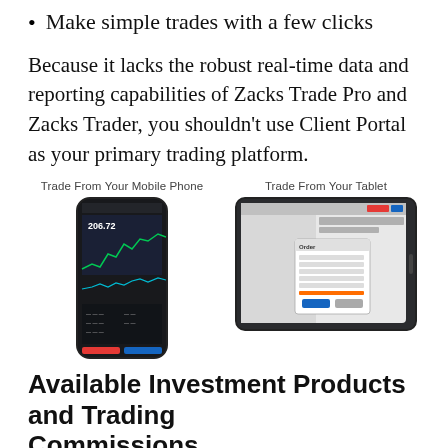Make simple trades with a few clicks
Because it lacks the robust real-time data and reporting capabilities of Zacks Trade Pro and Zacks Trader, you shouldn't use Client Portal as your primary trading platform.
[Figure (screenshot): Two device screenshots side by side. Left: 'Trade From Your Mobile Phone' label above a smartphone showing a dark stock chart app with a price of 206.72 and colorful chart lines. Right: 'Trade From Your Tablet' label above a tablet showing a trading interface with order entry dialogs.]
Available Investment Products and Trading Commissions